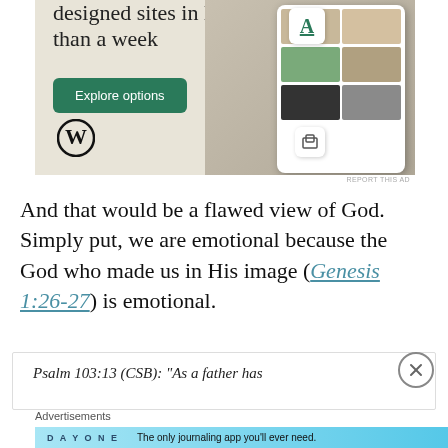[Figure (other): WordPress advertisement banner showing 'designed sites in less than a week' with an Explore options button, WordPress logo, and mockup of a food/lifestyle website on mobile screens against a beige background.]
And that would be a flawed view of God. Simply put, we are emotional because the God who made us in His image (Genesis 1:26-27) is emotional.
Psalm 103:13 (CSB): “As a father has
[Figure (other): DAY ONE journaling app advertisement: 'The only journaling app you'll ever need.' on a light blue background with illustrated icons.]